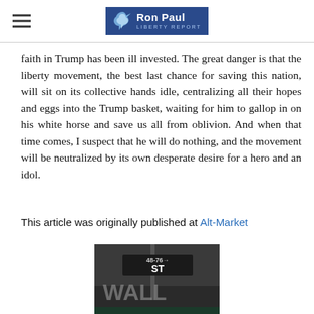Ron Paul Liberty Report
faith in Trump has been ill invested. The great danger is that the liberty movement, the best last chance for saving this nation, will sit on its collective hands idle, centralizing all their hopes and eggs into the Trump basket, waiting for him to gallop in on his white horse and save us all from oblivion. And when that time comes, I suspect that he will do nothing, and the movement will be neutralized by its own desperate desire for a hero and an idol.
This article was originally published at Alt-Market
[Figure (photo): Book cover: Wall Street, Banks, and American Foreign Policy by Murray N. Rothbard, showing a Wall Street street sign.]